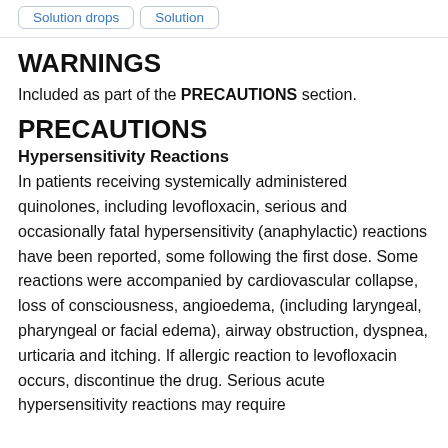Solution drops  Solution
WARNINGS
Included as part of the PRECAUTIONS section.
PRECAUTIONS
Hypersensitivity Reactions
In patients receiving systemically administered quinolones, including levofloxacin, serious and occasionally fatal hypersensitivity (anaphylactic) reactions have been reported, some following the first dose. Some reactions were accompanied by cardiovascular collapse, loss of consciousness, angioedema, (including laryngeal, pharyngeal or facial edema), airway obstruction, dyspnea, urticaria and itching. If allergic reaction to levofloxacin occurs, discontinue the drug. Serious acute hypersensitivity reactions may require